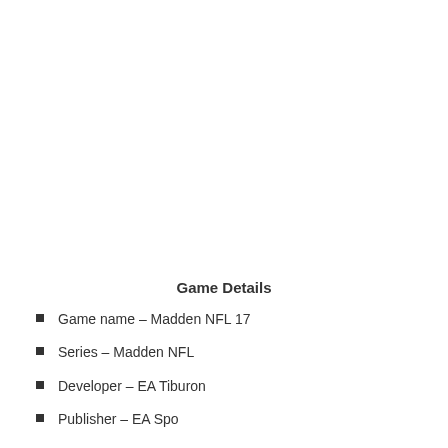Game Details
Game name – Madden NFL 17
Series – Madden NFL
Developer – EA Tiburon
Publisher – EA Sports